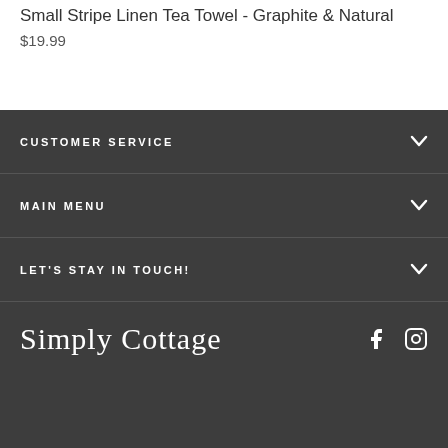Small Stripe Linen Tea Towel - Graphite & Natural
$19.99
CUSTOMER SERVICE
MAIN MENU
LET'S STAY IN TOUCH!
Simply Cottage
[Figure (logo): Facebook and Instagram social media icons in white]